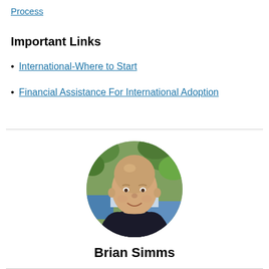Process
Important Links
International-Where to Start
Financial Assistance For International Adoption
[Figure (photo): Circular profile photo of Brian Simms, a bald smiling man in a striped shirt and dark jacket, with green foliage in the background.]
Brian Simms